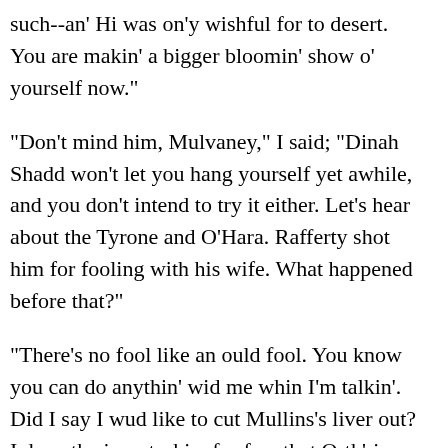such--an' Hi was on'y wishful for to desert. You are makin' a bigger bloomin' show o' yourself now."
"Don't mind him, Mulvaney," I said; "Dinah Shadd won't let you hang yourself yet awhile, and you don't intend to try it either. Let's hear about the Tyrone and O'Hara. Rafferty shot him for fooling with his wife. What happened before that?"
"There's no fool like an ould fool. You know you can do anythin' wid me whin I'm talkin'. Did I say I wud like to cut Mullins's liver out? I deny the imputashin, for fear that Orth'ris here wud report me--Ah! You wud tip me into the river, wud you? Sit quiet, little